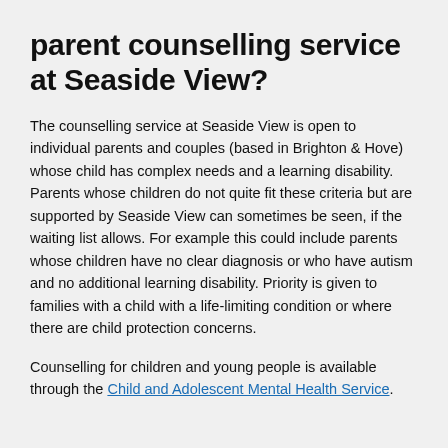parent counselling service at Seaside View?
The counselling service at Seaside View is open to individual parents and couples (based in Brighton & Hove) whose child has complex needs and a learning disability. Parents whose children do not quite fit these criteria but are supported by Seaside View can sometimes be seen, if the waiting list allows. For example this could include parents whose children have no clear diagnosis or who have autism and no additional learning disability. Priority is given to families with a child with a life-limiting condition or where there are child protection concerns.
Counselling for children and young people is available through the Child and Adolescent Mental Health Service.